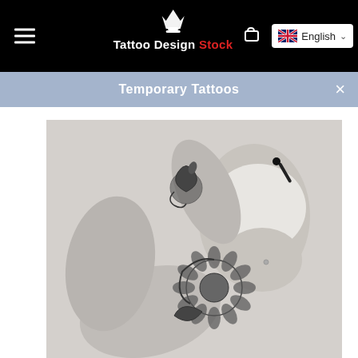Tattoo Design Stock — Temporary Tattoos
Tattoo Design Stock
Temporary Tattoos
[Figure (photo): Black and white photograph of a woman in a white crop top sitting with her knees up, displaying floral and sunflower tattoos on her forearm/elbow and hip/thigh area.]